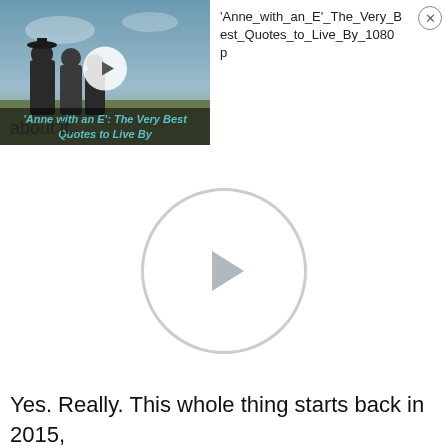[Figure (screenshot): Video thumbnail showing scene from 'Anne with an E' with play button and italic title overlay reading 'Anne with an E: The Very Best Quotes to Live By']
'Anne_with_an_E'_The_Very_Best_Quotes_to_Live_By_1080p
about it.
[Figure (screenshot): Large video player placeholder with circular play button on white background]
Yes. Really. This whole thing starts back in 2015,